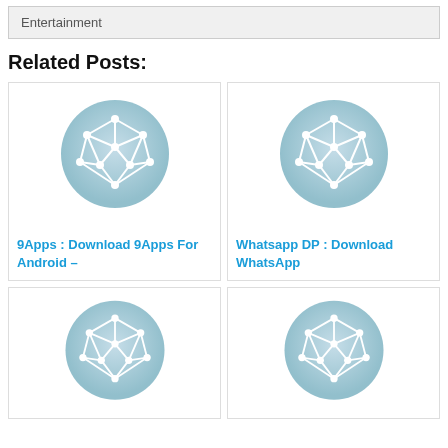Entertainment
Related Posts:
[Figure (illustration): Network graph icon on light blue circle background - placeholder image for '9Apps : Download 9Apps For Android –']
9Apps : Download 9Apps For Android –
[Figure (illustration): Network graph icon on light blue circle background - placeholder image for 'Whatsapp DP : Download WhatsApp']
Whatsapp DP : Download WhatsApp
[Figure (illustration): Network graph icon on light blue circle background - placeholder image (bottom left)]
[Figure (illustration): Network graph icon on light blue circle background - placeholder image (bottom right)]